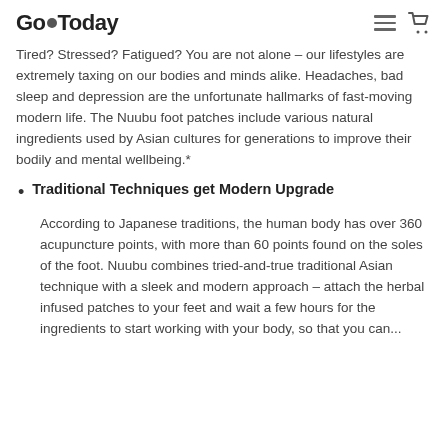GoToday
Tired? Stressed? Fatigued? You are not alone – our lifestyles are extremely taxing on our bodies and minds alike. Headaches, bad sleep and depression are the unfortunate hallmarks of fast-moving modern life. The Nuubu foot patches include various natural ingredients used by Asian cultures for generations to improve their bodily and mental wellbeing.*
Traditional Techniques get Modern Upgrade
According to Japanese traditions, the human body has over 360 acupuncture points, with more than 60 points found on the soles of the foot. Nuubu combines tried-and-true traditional Asian technique with a sleek and modern approach – attach the herbal infused patches to your feet and wait a few hours for the ingredients to start working with your body, so that you can...